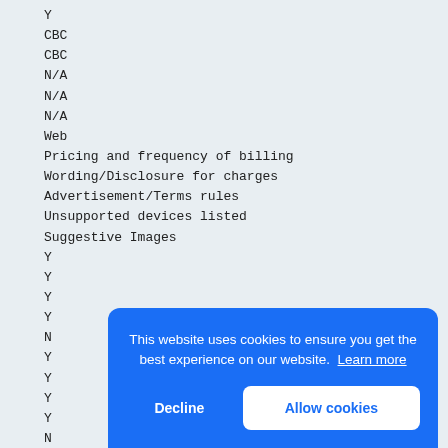Y
CBC
CBC
N/A
N/A
N/A
Web
Pricing and frequency of billing
Wording/Disclosure for charges
Advertisement/Terms rules
Unsupported devices listed
Suggestive Images
Y
Y
Y
Y
N
Y
Y
Y
Y
N
Y
Y
Y
Y
N
Y
Y
Y
Y
N
N
This website uses cookies to ensure you get the best experience on our website. Learn more